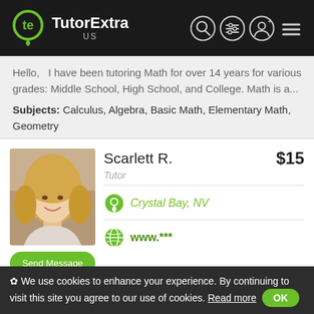TutorExtra US
Hello,   I have been tutoring Math for over 14 years for various grades: Middle School, High School, and College. Math is a...
Subjects: Calculus, Algebra, Basic Math, Elementary Math, Geometry
[Figure (photo): Profile photo of Scarlett R., a young woman with long blonde hair, smiling]
Scarlett R.
$15
Tutor
Crystal Bay, NV
www.***
Send Message
I want to teach kids lots of fun subjects!! If you hire me we
✿ We use cookies to enhance your experience. By continuing to visit this site you agree to our use of cookies. Read more OK